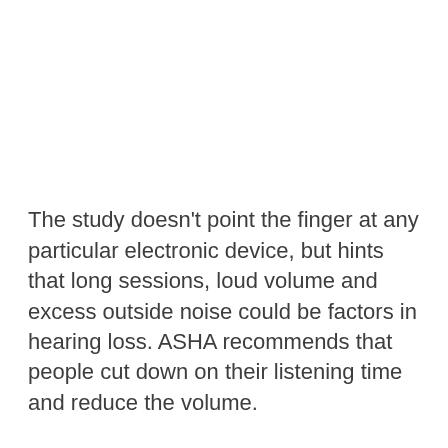The study doesn't point the finger at any particular electronic device, but hints that long sessions, loud volume and excess outside noise could be factors in hearing loss. ASHA recommends that people cut down on their listening time and reduce the volume.